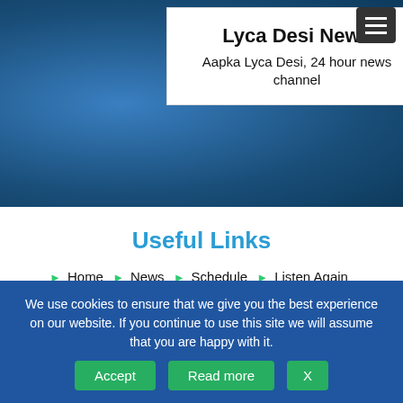Lyca Desi News
Aapka Lyca Desi, 24 hour news channel
Useful Links
Home
News
Schedule
Listen Again
Presenters
Advertise With Us
Gallery
Public Files
Contact Us
Presenters
Neil Andrews
Mark Dover
Steve Allen
Roni O'brien
Karen Lennon
Cookie Policy
More Presenters
We use cookies to ensure that we give you the best experience on our website. If you continue to use this site we will assume that you are happy with it.
Accept | Read more | X